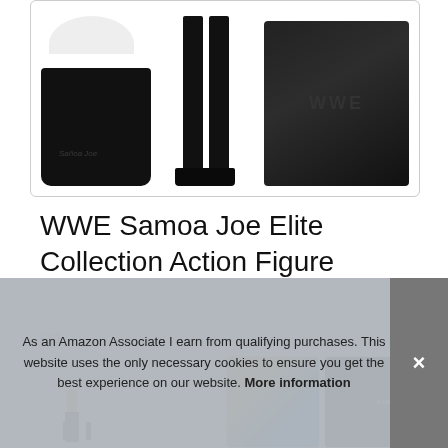[Figure (photo): Product image of WWE Samoa Joe Elite Collection Action Figure accessories and parts including a black t-shirt with logo, white curved accessory, figure legs with black shoes, and a black carrying case/display box with WWE logo]
WWE Samoa Joe Elite Collection Action Figure
#ad
[Figure (photo): Grid of product thumbnail images showing various WWE action figures and packaging for the Samoa Joe Elite Collection]
As an Amazon Associate I earn from qualifying purchases. This website uses the only necessary cookies to ensure you get the best experience on our website. More information